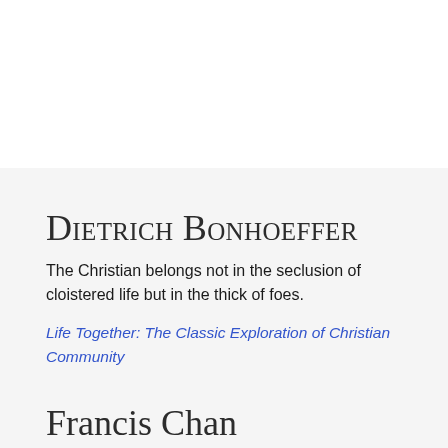Dietrich Bonhoeffer
The Christian belongs not in the seclusion of cloistered life but in the thick of foes.
Life Together: The Classic Exploration of Christian Community
Francis Chan